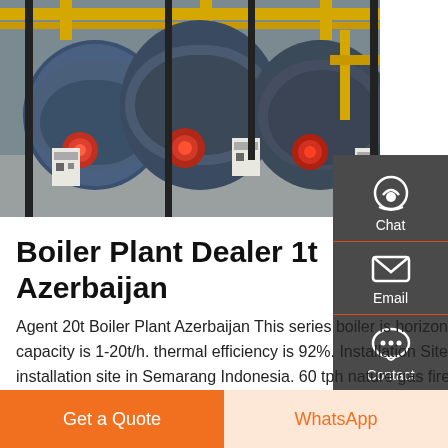[Figure (photo): Industrial boiler plant with three large horizontal fire tube boilers in blue/grey, connected with yellow pipes and fittings, control panels visible, warehouse setting]
Boiler Plant Dealer 1t Azerbaijan
Agent 20t Boiler Plant Azerbaijan This series boiler is horizontal fire tube 3 pass oil gas fired steam boiler. the steam capacity is 1-20t/h. thermal efficiency is 92%. Installation Site This is the 3600000 Kcal biomss fired thermal oil heater installation site in Semarang Indonesia. 60 tph nature gas fired
Get a Quote
WhatsApp